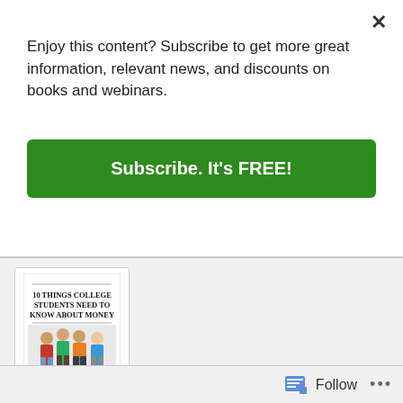Enjoy this content? Subscribe to get more great information, relevant news, and discounts on books and webinars.
Subscribe. It's FREE!
[Figure (illustration): Book cover for '10 Things College Students Need to Know About Money' by Shay Olivarria, showing group of college students, subtitle 'Small Changes Make a Big Difference']
Buy now
Follow
...